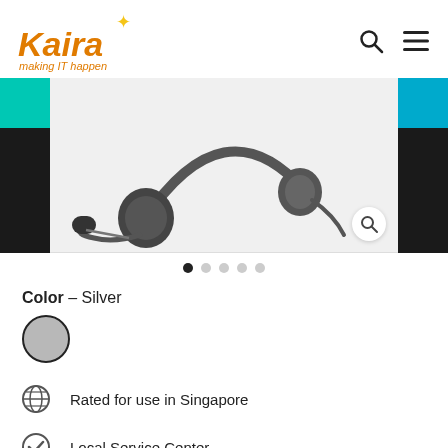[Figure (logo): Kaira logo with star icon and tagline 'making IT happen' in orange italic text]
[Figure (photo): Product photo of a grey/black headset with boom microphone, shown on a light grey background. Navigation arrows and zoom icon visible.]
[Figure (other): Image carousel dots: 5 dots with first dot active (filled black), rest grey]
Color – Silver
[Figure (other): Silver color swatch circle with black border]
Rated for use in Singapore
Local Service Center
Delivery options available